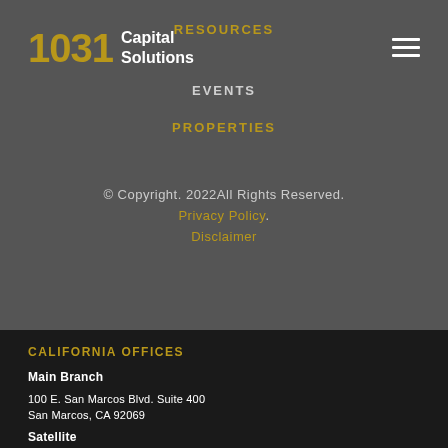1031 Capital Solutions
RESOURCES
EVENTS
PROPERTIES
© Copyright. 2022All Rights Reserved. Privacy Policy. Disclaimer
CALIFORNIA OFFICES
Main Branch
100 E. San Marcos Blvd. Suite 400
San Marcos, CA 92069
Satellite